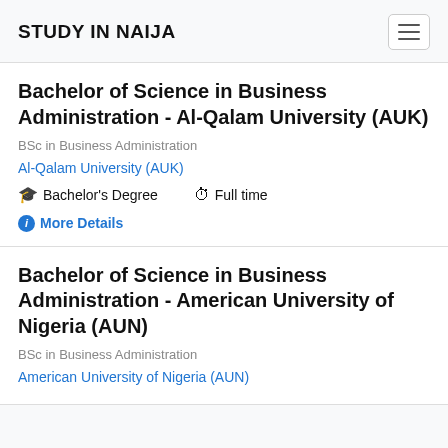STUDY IN NAIJA
Bachelor of Science in Business Administration - Al-Qalam University (AUK)
BSc in Business Administration
Al-Qalam University (AUK)
Bachelor's Degree   Full time
More Details
Bachelor of Science in Business Administration - American University of Nigeria (AUN)
BSc in Business Administration
American University of Nigeria (AUN)